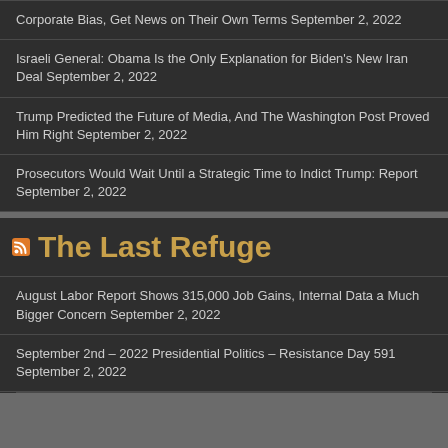Corporate Bias, Get News on Their Own Terms September 2, 2022
Israeli General: Obama Is the Only Explanation for Biden's New Iran Deal September 2, 2022
Trump Predicted the Future of Media, And The Washington Post Proved Him Right September 2, 2022
Prosecutors Would Wait Until a Strategic Time to Indict Trump: Report September 2, 2022
The Last Refuge
August Labor Report Shows 315,000 Job Gains, Internal Data a Much Bigger Concern September 2, 2022
September 2nd – 2022 Presidential Politics – Resistance Day 591 September 2, 2022